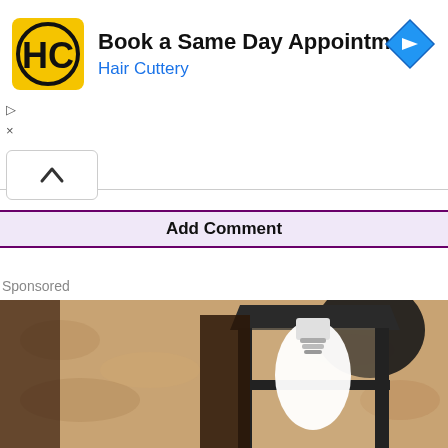[Figure (screenshot): Hair Cuttery advertisement banner with yellow HC logo, text 'Book a Same Day Appointment' and 'Hair Cuttery', and a blue navigation diamond icon on the right]
▷
×
[Figure (other): Collapsed/chevron up button]
Add Comment
Sponsored
[Figure (photo): Close-up photograph of an outdoor wall-mounted black lantern light fixture with a white light bulb, mounted on a textured stucco wall in warm sepia tones]